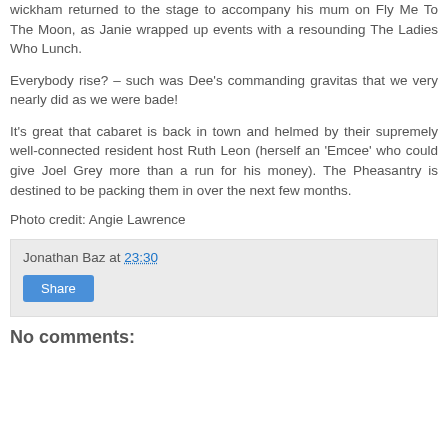wickham returned to the stage to accompany his mum on Fly Me To The Moon, as Janie wrapped up events with a resounding The Ladies Who Lunch.
Everybody rise? – such was Dee's commanding gravitas that we very nearly did as we were bade!
It's great that cabaret is back in town and helmed by their supremely well-connected resident host Ruth Leon (herself an 'Emcee' who could give Joel Grey more than a run for his money). The Pheasantry is destined to be packing them in over the next few months.
Photo credit: Angie Lawrence
Jonathan Baz at 23:30
Share
No comments: